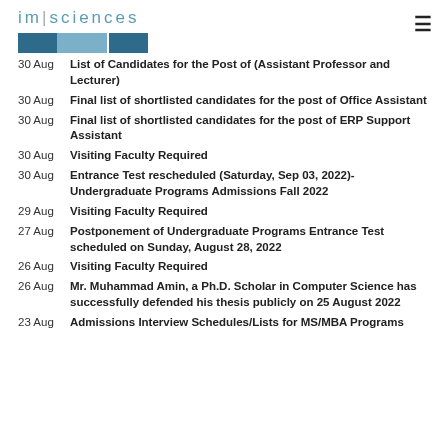im|sciences
30 Aug – List of Candidates for the Post of (Assistant Professor and Lecturer)
30 Aug – Final list of shortlisted candidates for the post of Office Assistant
30 Aug – Final list of shortlisted candidates for the post of ERP Support Assistant
30 Aug – Visiting Faculty Required
30 Aug – Entrance Test rescheduled (Saturday, Sep 03, 2022)- Undergraduate Programs Admissions Fall 2022
29 Aug – Visiting Faculty Required
27 Aug – Postponement of Undergraduate Programs Entrance Test scheduled on Sunday, August 28, 2022
26 Aug – Visiting Faculty Required
26 Aug – Mr. Muhammad Amin, a Ph.D. Scholar in Computer Science has successfully defended his thesis publicly on 25 August 2022
23 Aug – Admissions Interview Schedules/Lists for MS/MBA Programs